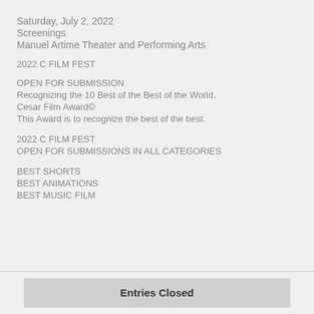Saturday, July 2, 2022
Screenings
Manuel Artime Theater and Performing Arts
2022 C FILM FEST
OPEN FOR SUBMISSION
Recognizing the 10 Best of the Best of the World.
Cesar Film Award©
This Award is to recognize the best of the best.
2022 C FILM FEST
OPEN FOR SUBMISSIONS IN ALL CATEGORIES
BEST SHORTS
BEST ANIMATIONS
BEST MUSIC FILM
Entries Closed